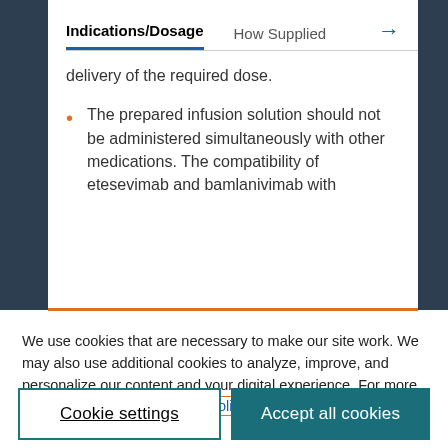Indications/Dosage | How Supplied →
delivery of the required dose.
The prepared infusion solution should not be administered simultaneously with other medications. The compatibility of etesevimab and bamlanivimab with
We use cookies that are necessary to make our site work. We may also use additional cookies to analyze, improve, and personalize our content and your digital experience. For more information, see our Cookie Policy
Cookie settings
Accept all cookies